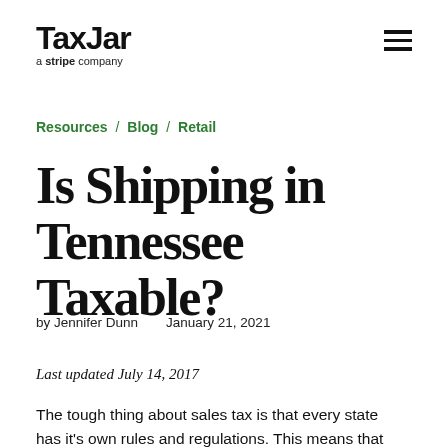TaxJar a stripe company
Resources / Blog / Retail
Is Shipping in Tennessee Taxable?
by Jennifer Dunn    January 21, 2021
Last updated July 14, 2017
The tough thing about sales tax is that every state has it's own rules and regulations. This means that